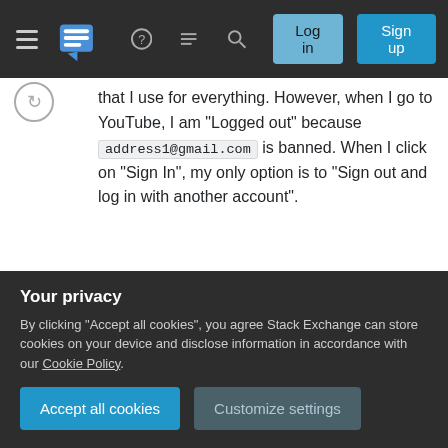Stack Exchange navigation bar with hamburger menu, logo, help, chat, search icons, Log in and Sign up buttons
that I use for everything. However, when I go to YouTube, I am "Logged out" because address1@gmail.com is banned. When I click on "Sign In", my only option is to "Sign out and log in with another account".
A workaround I found was to log in with address2@gmail.com and Add Account with address1@gmail.com , which works except now address2@gmail.com is my default account. So whenever I search, go to Gmail, Maps, etc. it will all
Your privacy
By clicking "Accept all cookies", you agree Stack Exchange can store cookies on your device and disclose information in accordance with our Cookie Policy.
Accept all cookies   Customize settings